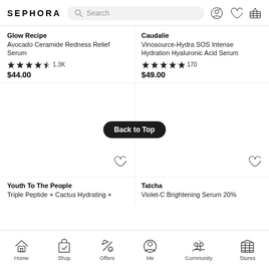SEPHORA
[Figure (screenshot): Sephora mobile app header with logo, search bar, and icons]
Glow Recipe
Avocado Ceramide Redness Relief Serum
★★★★☆ 1.3K
$44.00
Caudalie
Vinosource-Hydra SOS Intense Hydration Hyaluronic Acid Serum
★★★★★ 170
$49.00
[Figure (screenshot): Back to Top button overlay on product image area with heart/wishlist icons]
Youth To The People
Triple Peptide + Cactus Hydrating +
Tatcha
Violet-C Brightening Serum 20%
Home  Shop  Offers  Me  Community  Stores